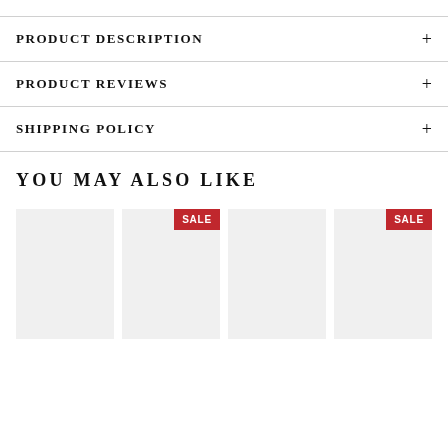PRODUCT DESCRIPTION
PRODUCT REVIEWS
SHIPPING POLICY
YOU MAY ALSO LIKE
[Figure (other): Two product thumbnail placeholders with red SALE badges in top-right corners, part of a 'You May Also Like' product recommendation section.]